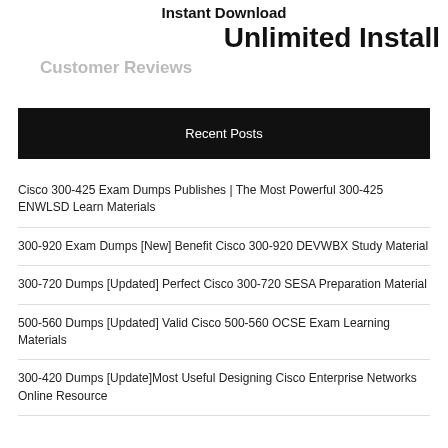Instant Download
Unlimited Install
Customer Reviews
Recent Posts
Cisco 300-425 Exam Dumps Publishes | The Most Powerful 300-425 ENWLSD Learn Materials
300-920 Exam Dumps [New] Benefit Cisco 300-920 DEVWBX Study Material
300-720 Dumps [Updated] Perfect Cisco 300-720 SESA Preparation Material
500-560 Dumps [Updated] Valid Cisco 500-560 OCSE Exam Learning Materials
300-420 Dumps [Update]Most Useful Designing Cisco Enterprise Networks Online Resource